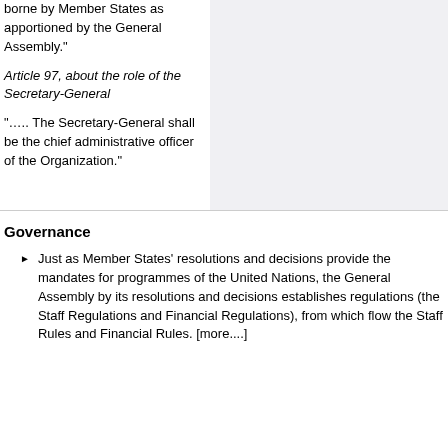borne by Member States as apportioned by the General Assembly.”
Article 97, about the role of the Secretary-General
“….. The Secretary-General shall be the chief administrative officer of the Organization.”
Governance
Just as Member States’ resolutions and decisions provide the mandates for programmes of the United Nations, the General Assembly by its resolutions and decisions establishes regulations (the Staff Regulations and Financial Regulations), from which flow the Staff Rules and Financial Rules. [more....]